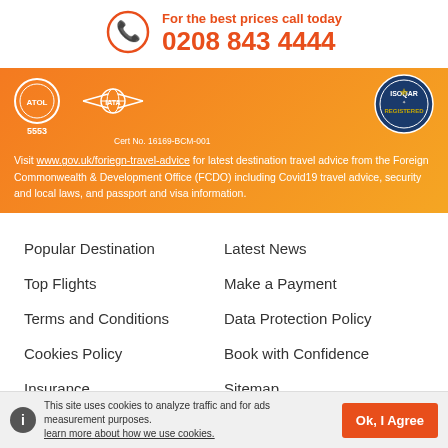For the best prices call today
0208 843 4444
[Figure (infographic): Orange banner with IATA logo (number 5553), ISOQAR registered certification badge (Cert No. 16169-BCM-001), and text about visiting www.gov.uk/foriegn-travel-advice for latest destination travel advice from the Foreign Commonwealth & Development Office (FCDO) including Covid19 travel advice, security and local laws, and passport and visa information.]
Popular Destination
Latest News
Top Flights
Make a Payment
Terms and Conditions
Data Protection Policy
Cookies Policy
Book with Confidence
Insurance
Sitemap
Travel Protection
Modern Slavery Statement
This site uses cookies to analyze traffic and for ads measurement purposes. learn more about how we use cookies.